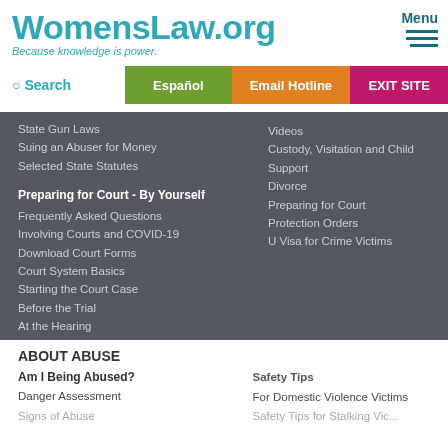WomensLaw.org
Because knowledge is power.
Menu
Search
Español
Email Hotline
EXIT SITE
State Gun Laws
Suing an Abuser for Money
Selected State Statutes
Preparing for Court - By Yourself
Frequently Asked Questions Involving Courts and COVID-19
Download Court Forms
Court System Basics
Starting the Court Case
Before the Trial
At the Hearing
After a Decision is Issued
Videos
Custody, Visitation and Child Support
Divorce
Preparing for Court
Protection Orders
U Visa for Crime Victims
ABOUT ABUSE
Am I Being Abused?
Danger Assessment
Safety Tips
For Domestic Violence Victims
Safety Tips for Stalking Victims